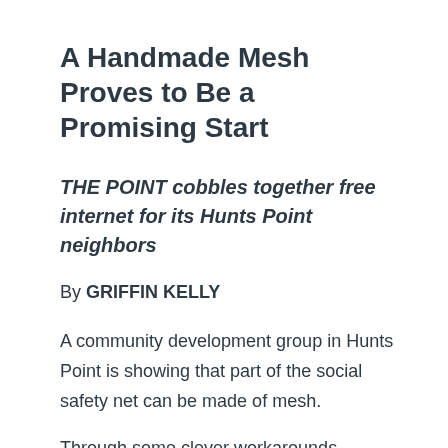A Handmade Mesh Proves to Be a Promising Start
THE POINT cobbles together free internet for its Hunts Point neighbors
By GRIFFIN KELLY
A community development group in Hunts Point is showing that part of the social safety net can be made of mesh.
Through some clever workarounds, THE POINT...